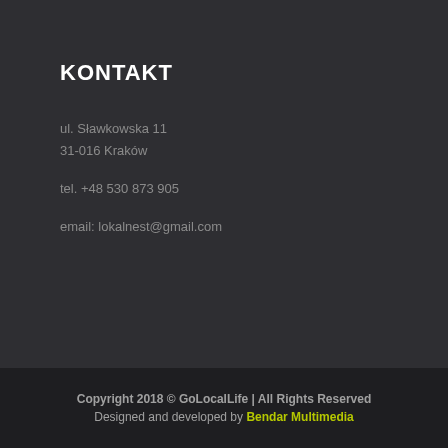KONTAKT
ul. Sławkowska 11
31-016 Kraków
tel. +48 530 873 905
email: lokalnest@gmail.com
Copyright 2018 © GoLocalLife | All Rights Reserved
Designed and developed by Bendar Multimedia